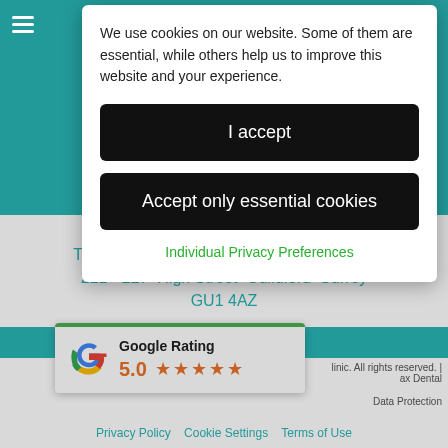We use cookies on our website. Some of them are essential, while others help us to improve this website and your experience.
I accept
Accept only essential cookies
Individual Privacy Preferences
E: info@eastgatedentalclinic.co.uk
The Pavilion, Rear Ground Floor Premises 221-227 High Street Guildford Surrey GU1 4AZ
[Figure (logo): Google 'G' logo multicolor]
Google Rating
5.0 ★★★★★
Clinic. All rights reserved. | ax Dental
Data Protection
Privacy Policy   Cookie Settings   Terms of Use